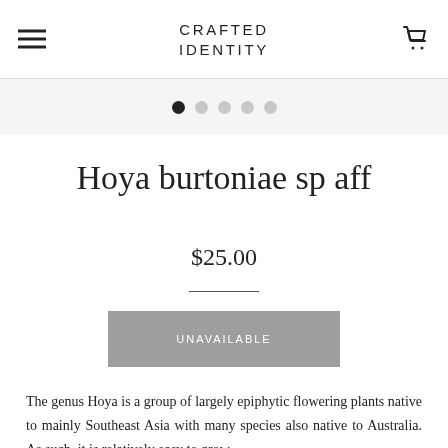CRAFTED IDENTITY
[Figure (other): Slideshow pagination dots: one filled black dot followed by four empty grey dots]
Hoya burtoniae sp aff
$25.00
UNAVAILABLE
The genus Hoya is a group of largely epiphytic flowering plants native to mainly Southeast Asia with many species also native to Australia. As such, it is relatively easy to grow